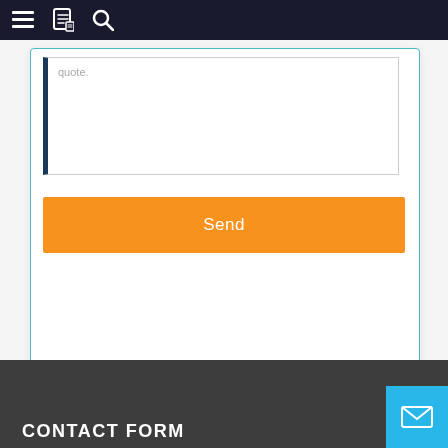Navigation bar with menu, book, and search icons
quote.
Send
CONTACT FORM